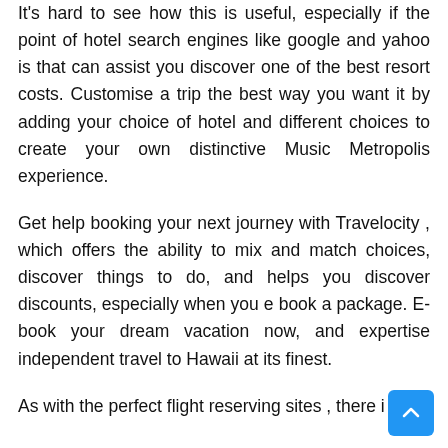It's hard to see how this is useful, especially if the point of hotel search engines like google and yahoo is that can assist you discover one of the best resort costs. Customise a trip the best way you want it by adding your choice of hotel and different choices to create your own distinctive Music Metropolis experience.
Get help booking your next journey with Travelocity , which offers the ability to mix and match choices, discover things to do, and helps you discover discounts, especially when you e book a package. E-book your dream vacation now, and expertise independent travel to Hawaii at its finest.
As with the perfect flight reserving sites , there i...